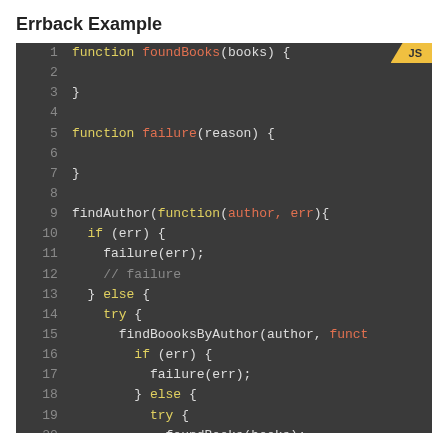Errback Example
[Figure (screenshot): Code editor screenshot showing JavaScript code with syntax highlighting. Dark background (#3a3a3a). Lines 1-21 visible. Code shows two function definitions (foundBooks and failure) followed by a findAuthor call with nested callbacks, error handling using if/else and try/catch blocks. A yellow 'JS' badge in top-right corner.]